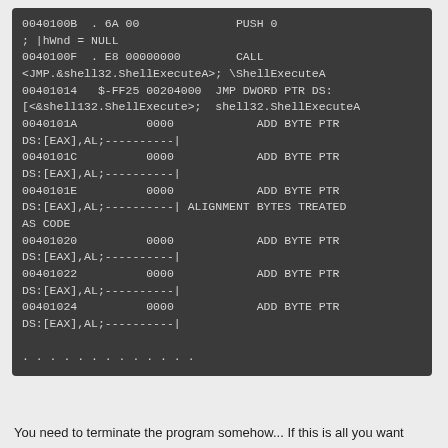[Figure (screenshot): Disassembly code listing shown in a dark-themed code editor/debugger. Shows assembly instructions at addresses 0040100B through 00401024 including PUSH, CALL, JMP DWORD PTR DS, and ADD BYTE PTR DS instructions, with alignment bytes comment.]
You need to terminate the program somehow... If this is all you want